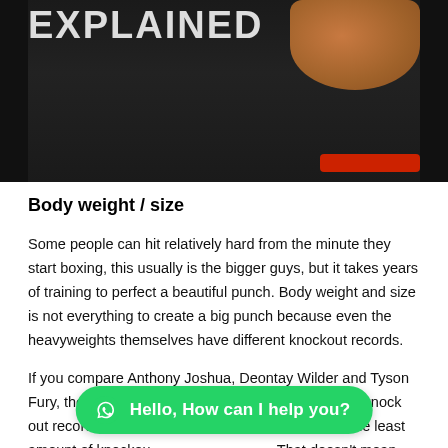[Figure (photo): Partial photo of a boxer, dark background with skin/body visible at top right, red collar/trunks visible, white bold text overlay partially visible at top left]
Body weight / size
Some people can hit relatively hard from the minute they start boxing, this usually is the bigger guys, but it takes years of training to perfect a beautiful punch. Body weight and size is not everything to create a big punch because even the heavyweights themselves have different knockout records.
If you compare Anthony Joshua, Deontay Wilder and Tyson Fury, the lightest being Deontay. He has the biggest knock out record, then Joshua and then Tyson Fury with the least amount of knockou[ts]. That doesn't mean Fury can't punch just as hard, let's it...